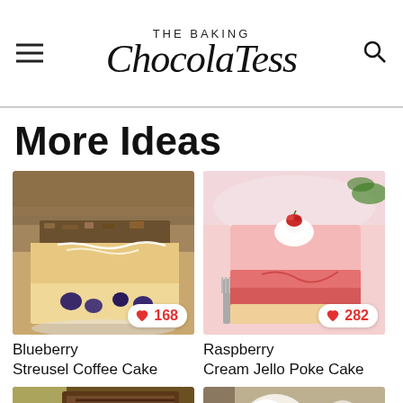THE BAKING ChocolaTess
More Ideas
[Figure (photo): Close-up of a blueberry streusel coffee cake slice with white glaze drizzle, heart like badge showing 168]
Blueberry Streusel Coffee Cake
[Figure (photo): A slice of raspberry cream jello poke cake with whipped cream and a fresh raspberry on top, heart like badge showing 282]
Raspberry Cream Jello Poke Cake
[Figure (photo): Partial view of a chocolate cake or bread in a pan]
[Figure (photo): Partial view of a dessert with whipped cream]